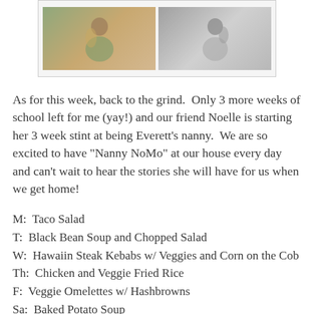[Figure (photo): Two photos side by side in a light-bordered frame: a color photo on the left showing two people, and a black-and-white photo on the right showing a person.]
As for this week, back to the grind.  Only 3 more weeks of school left for me (yay!) and our friend Noelle is starting her 3 week stint at being Everett's nanny.  We are so excited to have "Nanny NoMo" at our house every day and can't wait to hear the stories she will have for us when we get home!
M:  Taco Salad
T:  Black Bean Soup and Chopped Salad
W:  Hawaiin Steak Kebabs w/ Veggies and Corn on the Cob
Th:  Chicken and Veggie Fried Rice
F:  Veggie Omelettes w/ Hashbrowns
Sa:  Baked Potato Soup